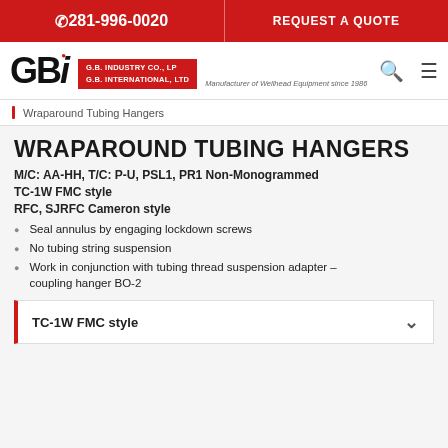281-996-0020  REQUEST A QUOTE
[Figure (logo): GBI - G.B. Industry Co., LP / G.B. International, Ltd logo with tagline 'Manufacturer of Wellhead Equipment since 1986']
Wraparound Tubing Hangers
WRAPAROUND TUBING HANGERS
M/C: AA-HH, T/C: P-U, PSL1, PR1 Non-Monogrammed
TC-1W  FMC style
RFC, SJRFC  Cameron style
Seal annulus by engaging lockdown screws
No tubing string suspension
Work in conjunction with tubing thread suspension adapter – coupling hanger BO-2
TC-1W  FMC style